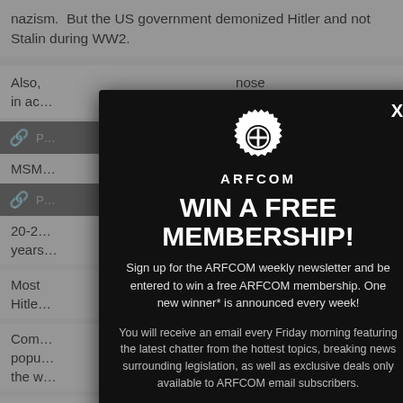nazism.  But the US government demonized Hitler and not Stalin during WW2.
Also, ... those in ac...
MSM...
20-25... years...
Most... me, Hitler...
Com... popu... on the w...
Both... boo... at to
[Figure (screenshot): ARFCOM modal popup overlay on a webpage. Dark background modal with ARFCOM gear logo, headline 'WIN A FREE MEMBERSHIP!', body text about signing up for the ARFCOM weekly newsletter to win a free membership. Includes email input field at bottom. Background shows partially visible article text about nazism, Hitler, Stalin. Orange scroll-up and scroll-down buttons visible on right side.]